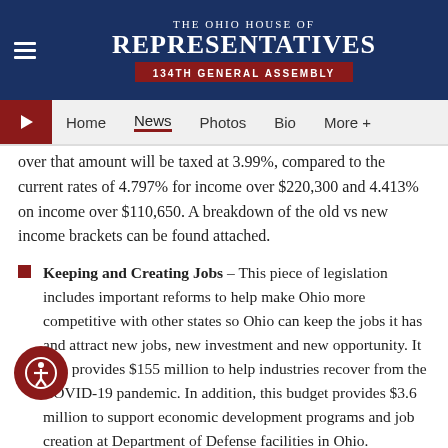The Ohio House of Representatives — 134th General Assembly
over that amount will be taxed at 3.99%, compared to the current rates of 4.797% for income over $220,300 and 4.413% on income over $110,650. A breakdown of the old vs new income brackets can be found attached.
Keeping and Creating Jobs – This piece of legislation includes important reforms to help make Ohio more competitive with other states so Ohio can keep the jobs it has and attract new jobs, new investment and new opportunity. It also provides $155 million to help industries recover from the COVID-19 pandemic. In addition, this budget provides $3.6 million to support economic development programs and job creation at Department of Defense facilities in Ohio.
Expanding Broadband & Opportunity – HB 110